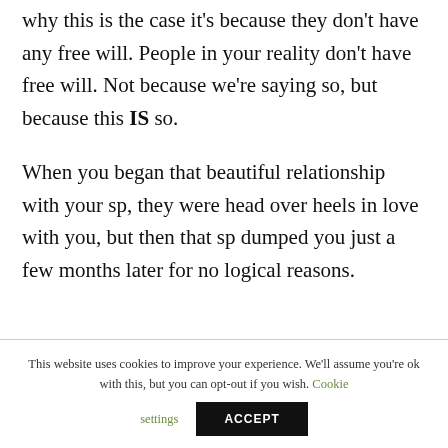why this is the case it's because they don't have any free will. People in your reality don't have free will. Not because we're saying so, but because this IS so.
When you began that beautiful relationship with your sp, they were head over heels in love with you, but then that sp dumped you just a few months later for no logical reasons.
This website uses cookies to improve your experience. We'll assume you're ok with this, but you can opt-out if you wish. Cookie settings ACCEPT